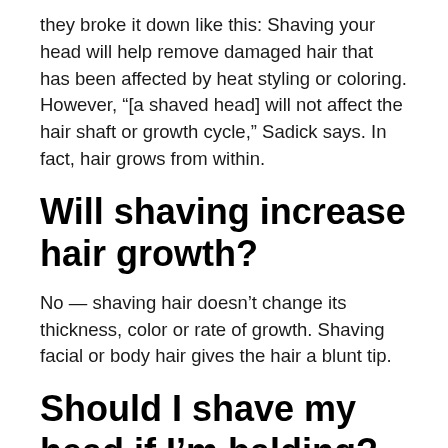they broke it down like this: Shaving your head will help remove damaged hair that has been affected by heat styling or coloring. However, “[a shaved head] will not affect the hair shaft or growth cycle,” Sadick says. In fact, hair grows from within.
Will shaving increase hair growth?
No — shaving hair doesn’t change its thickness, color or rate of growth. Shaving facial or body hair gives the hair a blunt tip.
Should I shave my head if I’m balding?